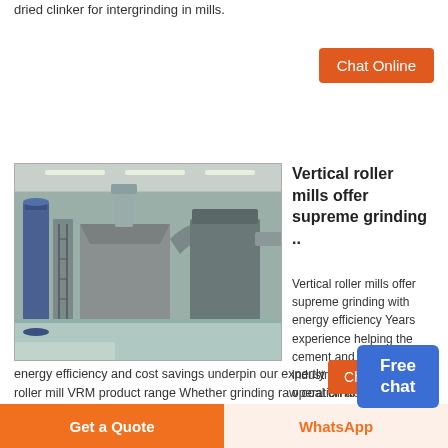dried clinker for intergrinding in mills.
[Figure (other): Button: Chat Online (orange background, white text)]
[Figure (photo): Industrial vertical roller mill machinery inside a large factory building with ducts and hoppers]
Vertical roller mills offer supreme grinding ..
Vertical roller mills offer supreme grinding with energy efficiency Years experience helping the cement and power plant industries achieve easy operation and maintenance
[Figure (other): Free chat badge (blue background, white text)]
energy efficiency and cost savings underpin our expertly designed vertical roller mill VRM product range Whether grinding raw coal clinker cement and/or slag we
[Figure (other): Button: Chat Online (orange background, white text)]
[Figure (other): Button: Get a Quote (orange background, white text)]
[Figure (other): Button: WhatsApp (light beige background, orange text)]